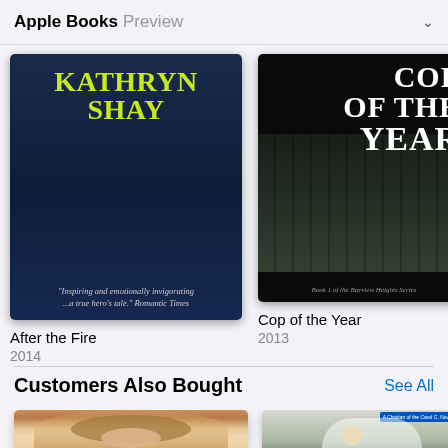Apple Books Preview
[Figure (photo): Book cover for 'After the Fire' by Kathryn Shay, dark navy blue background with author name in large yellow-green text. Quote: 'Inspiring and emotionally invigorating ...a true hero's tale.' Romantic Times]
After the Fire
2014
[Figure (photo): Book cover for 'Cop of the Year', black background with white serif title text, building image in background, subtitle: Book 1 of the Bayview Heights Series]
Cop of the Year
2013
[Figure (photo): Partial book cover visible at right edge, magenta/purple color]
Be
201
Customers Also Bought
See All
[Figure (photo): Bottom of page: partial book covers visible. Left cover shows a smiling woman with blonde hair and a hat. Right cover shows a person in white clothing holding a flower.]